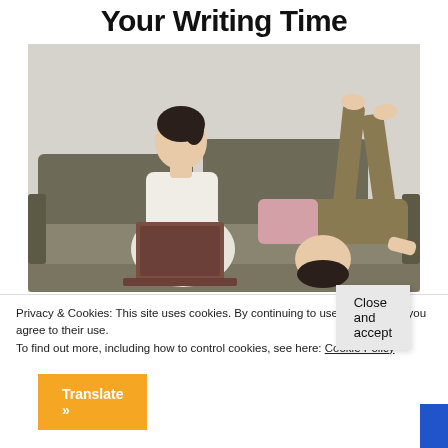Your Writing Time
[Figure (photo): A woman sitting on a sofa working on a laptop while a child lies upside down next to her with feet up on the wall]
Privacy & Cookies: This site uses cookies. By continuing to use this website, you agree to their use.
To find out more, including how to control cookies, see here: Cookie Policy
Close and accept
Translate »